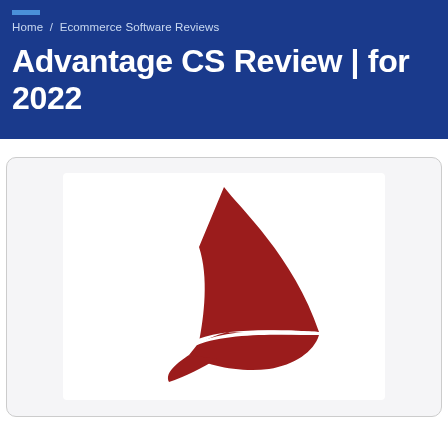Home / Ecommerce Software Reviews
Advantage CS Review | for 2022
[Figure (logo): Advantage CS logo — a red shark fin / sail shape composed of two curved red forms with a white gap between them, on a white background inside a rounded light-grey card with border.]